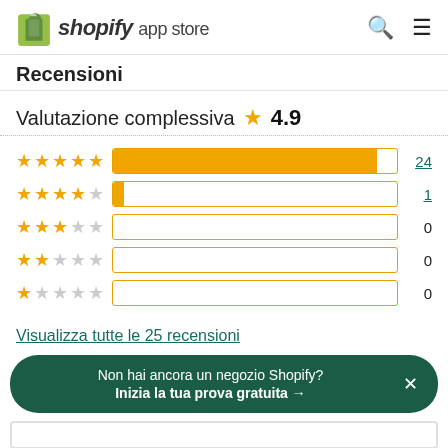shopify app store
Recensioni
Valutazione complessiva ★ 4.9
[Figure (bar-chart): Rating distribution]
Visualizza tutte le 25 recensioni
Non hai ancora un negozio Shopify? Inizia la tua prova gratuita →